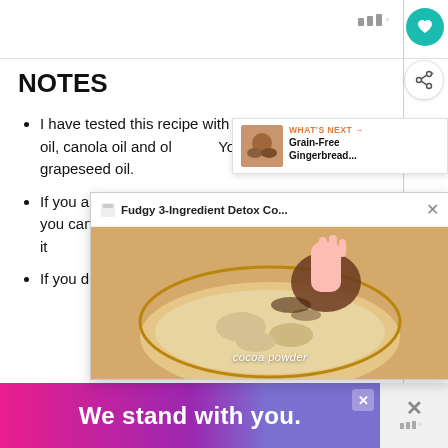NOTES
I have tested this recipe with coconut oil, avocado oil, canola oil and olive oil. You can also use grapeseed oil.
If you are using coconut oil, make sure it is melted, but not hot. Otherwise you can sub for several seconds. If soft to the touch, it...
If you don't have [ingredient] on hand, you can use [alternative] instead.
[Figure (screenshot): What's Next promotional box showing Grain-Free Gingerbread... with a food image thumbnail]
[Figure (screenshot): Video popup overlay titled Fudgy 3-Ingredient Detox Co... with an image of cocoa powder being added to a bowl with cocoa powder label]
We stand with you.